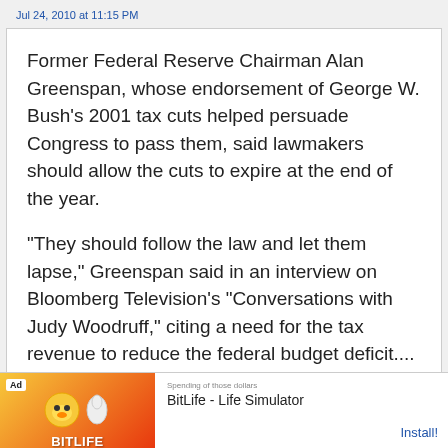Jul 24, 2010 at 11:15 PM
Former Federal Reserve Chairman Alan Greenspan, whose endorsement of George W. Bush’s 2001 tax cuts helped persuade Congress to pass them, said lawmakers should allow the cuts to expire at the end of the year.
“They should follow the law and let them lapse,” Greenspan said in an interview on Bloomberg Television’s “Conversations with Judy Woodruff,” citing a need for the tax revenue to reduce the federal budget deficit....
Ending the cuts “probably will” slow growth, Greenspan, 84, said in the TV interview. The risk
[Figure (screenshot): Advertisement banner for BitLife - Life Simulator app with orange/red background, emoji graphics, Ad label, and Install button]